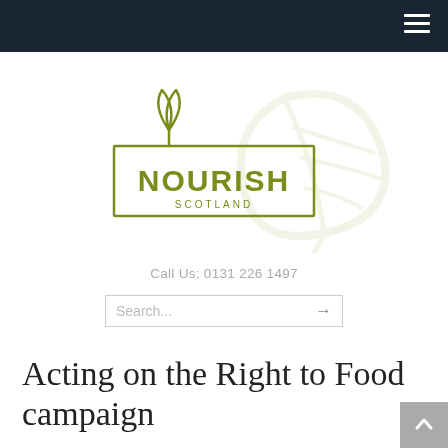[Figure (logo): Nourish Scotland logo with plant/leaf motif in olive green and a large faded leaf watermark to the right]
Call Us: 0131 226 1497
Search...
Acting on the Right to Food campaign